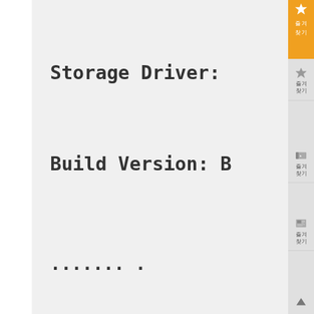Storage Driver:
Build Version: B
....... .